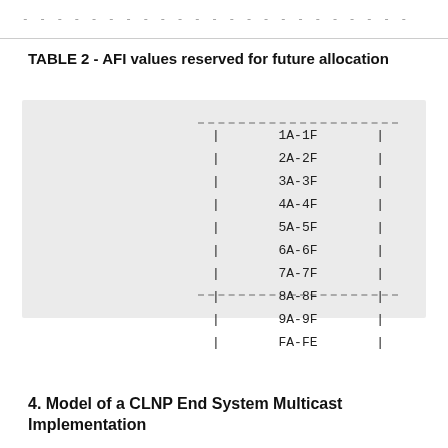- - - - - - - - - - - - - - - - - - - - - - -
TABLE 2 - AFI values reserved for future allocation
| 1A-1F |
| 2A-2F |
| 3A-3F |
| 4A-4F |
| 5A-5F |
| 6A-6F |
| 7A-7F |
| 8A-8F |
| 9A-9F |
| FA-FE |
4. Model of a CLNP End System Multicast Implementation